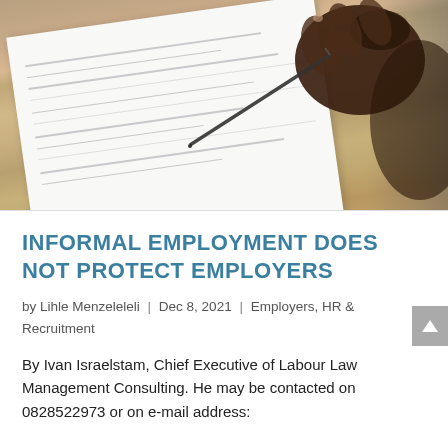[Figure (photo): Close-up photo of a person's hand signing a document on a wooden desk with a pen]
INFORMAL EMPLOYMENT DOES NOT PROTECT EMPLOYERS
by Lihle Menzeleleli | Dec 8, 2021 | Employers, HR & Recruitment
By Ivan Israelstam, Chief Executive of Labour Law Management Consulting. He may be contacted on 0828522973 or on e-mail address: